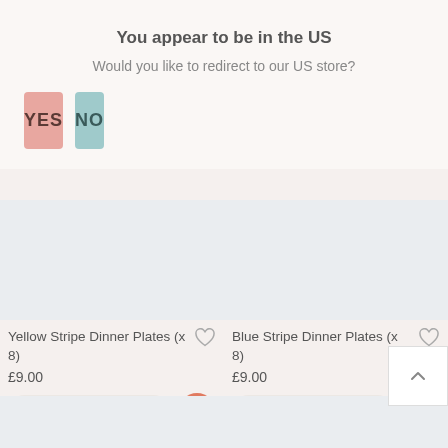You appear to be in the US
Would you like to redirect to our US store?
YES
NO
Yellow Stripe Dinner Plates (x 8)
£9.00
Blue Stripe Dinner Plates (x 8)
£9.00